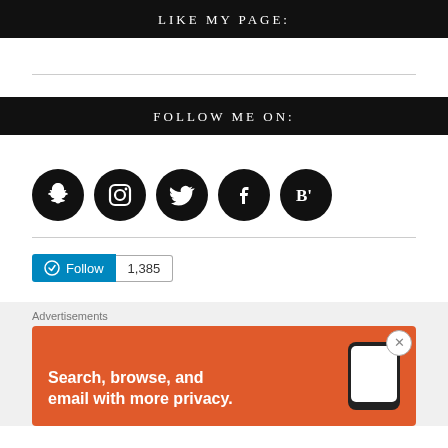LIKE MY PAGE:
[Figure (infographic): Social media follow section with icons for Snapchat, Instagram, Twitter, Facebook, and Bloglovin, followed by a WordPress Follow button with 1,385 followers count]
FOLLOW ME ON:
Follow 1,385
Advertisements
Search, browse, and email with more privacy.